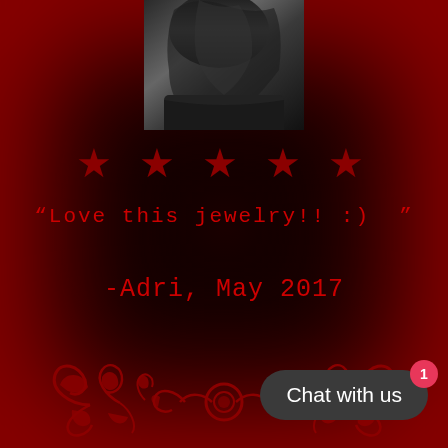[Figure (photo): Black and white photo of a person with long dark hair, partially visible from behind/side, cropped at top of page]
★ ★ ★ ★ ★
“Love this jewelry!! :)  ”
-Adri, May 2017
[Figure (illustration): Decorative red ornamental flourish/divider with scrollwork and floral motifs on black background]
Chat with us